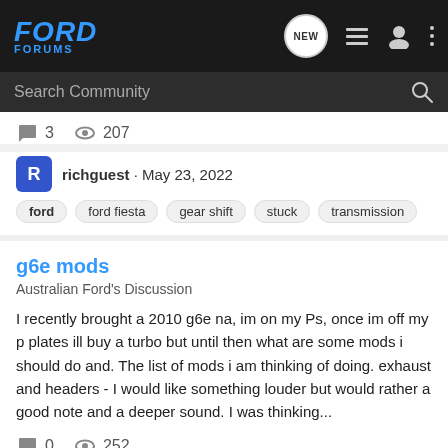FORD FORUMS
Search Community
3   207
richguest · May 23, 2022
ford   ford fiesta   gear shift   stuck   transmission
g6e mods
Australian Ford's Discussion
I recently brought a 2010 g6e na, im on my Ps, once im off my p plates ill buy a turbo but until then what are some mods i should do and. The list of mods i am thinking of doing. exhaust and headers - I would like something louder but would rather a good note and a deeper sound. I was thinking...
0   252